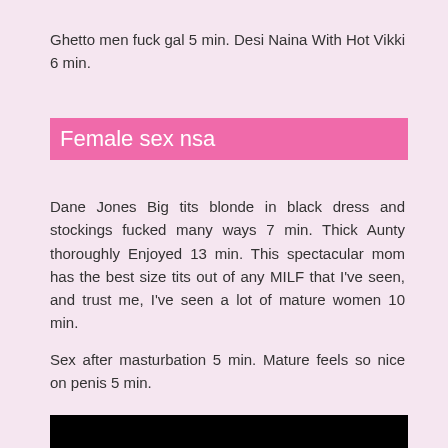Ghetto men fuck gal 5 min. Desi Naina With Hot Vikki 6 min.
Female sex nsa
Dane Jones Big tits blonde in black dress and stockings fucked many ways 7 min. Thick Aunty thoroughly Enjoyed 13 min. This spectacular mom has the best size tits out of any MILF that I've seen, and trust me, I've seen a lot of mature women 10 min.
Sex after masturbation 5 min. Mature feels so nice on penis 5 min.
[Figure (photo): Black rectangle at bottom of page, partially visible]